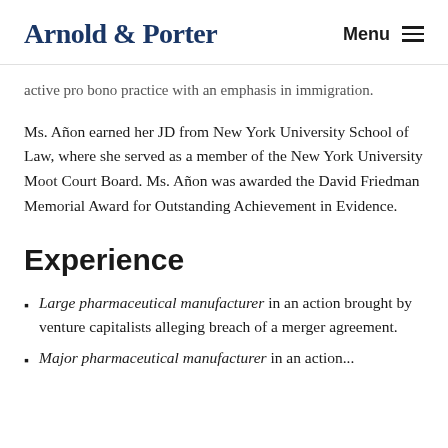Arnold & Porter  Menu
active pro bono practice with an emphasis in immigration.
Ms. Añon earned her JD from New York University School of Law, where she served as a member of the New York University Moot Court Board. Ms. Añon was awarded the David Friedman Memorial Award for Outstanding Achievement in Evidence.
Experience
Large pharmaceutical manufacturer in an action brought by venture capitalists alleging breach of a merger agreement.
Major pharmaceutical manufacturer in an action...